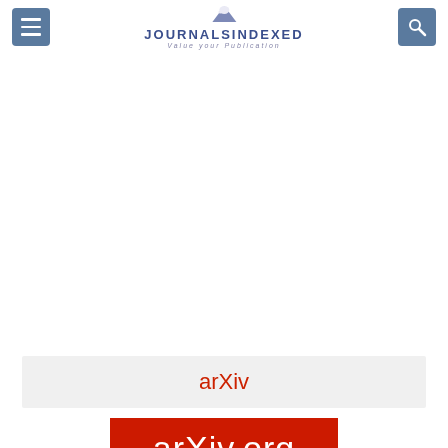JOURNALSINDEXED - Value your Publication
arXiv
[Figure (logo): arXiv.org red logo banner]